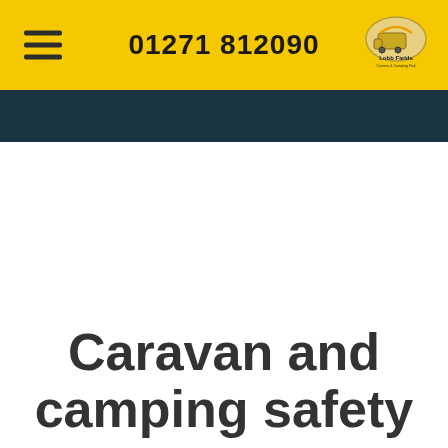01271 812090
Caravan and camping safety